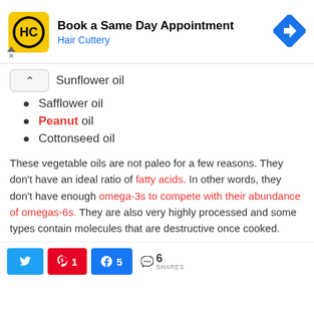[Figure (screenshot): Hair Cuttery ad banner: yellow logo with HC, text 'Book a Same Day Appointment / Hair Cuttery', blue diamond arrow icon on right]
Sunflower oil
Safflower oil
Peanut oil
Cottonseed oil
These vegetable oils are not paleo for a few reasons. They don't have an ideal ratio of fatty acids. In other words, they don't have enough omega-3s to compete with their abundance of omegas-6s. They are also very highly processed and some types contain molecules that are destructive once cooked.
[Figure (screenshot): Social share bar with Twitter button, Pinterest button (1 share), Facebook button (5 shares), and share count of 6 SHARES]